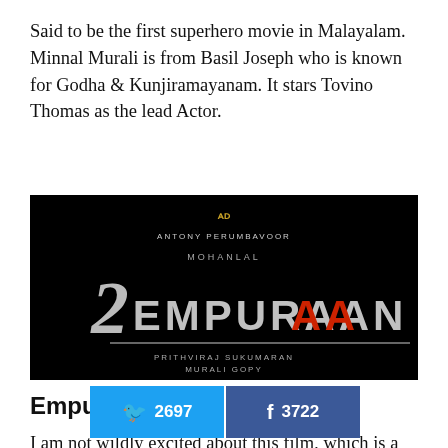Said to be the first superhero movie in Malayalam. Minnal Murali is from Basil Joseph who is known for Godha & Kunjiramayanam. It stars Tovino Thomas as the lead Actor.
[Figure (photo): Movie title card for 'Empuraan' on black background. Shows 'Antony Perumbavoor' production logo at top, 'Mohanlal' above the stylized title, and 'Prithviraj Sukumaran' and 'Murali Gopy' credits at the bottom.]
Empuraan
I am not wildly excited about this film, which is a sequel to Lu[cricket] ter of this year. But it's [social bar overlay] the masses.